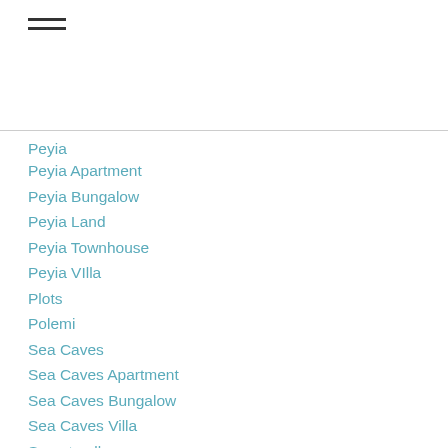Peyia
Peyia Apartment
Peyia Bungalow
Peyia Land
Peyia Townhouse
Peyia VIlla
Plots
Polemi
Sea Caves
Sea Caves Apartment
Sea Caves Bungalow
Sea Caves Villa
Secret-valley
Secret-valley-villa
Semi Detached
Sold
Stonehouse
Stroumbi